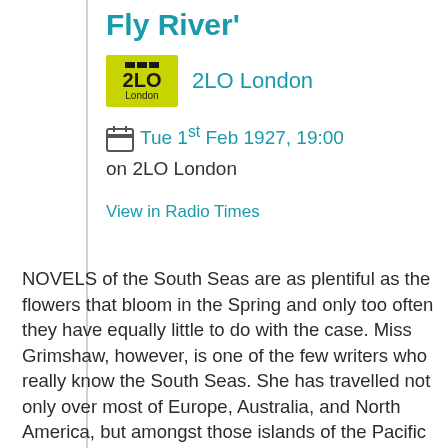Fly River'
[Figure (logo): BBC 2LO London yellow badge logo]
2LO London
Tue 1st Feb 1927, 19:00 on 2LO London
View in Radio Times
NOVELS of the South Seas are as plentiful as the flowers that bloom in the Spring and only too often they have equally little to do with the case. Miss Grimshaw, however, is one of the few writers who really know the South Seas. She has travelled not only over most of Europe, Australia, and North America, but amongst those islands of the Pacific that look so near together, and so alike, on the map and leally spread over thousands of miles and contain dozens of widely differing races and tongues Her present home is in Papua, and she is